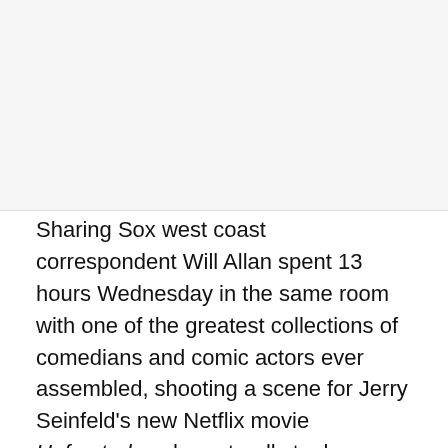[Figure (photo): Image placeholder at top of page, appears blank or white/light gray]
Sharing Sox west coast correspondent Will Allan spent 13 hours Wednesday in the same room with one of the greatest collections of comedians and comic actors ever assembled, shooting a scene for Jerry Seinfeld's new Netflix movie Unfrosted, so he naturally took advantage of the situation to ask two of them the most critical question of the day — are they really White Sox fans?